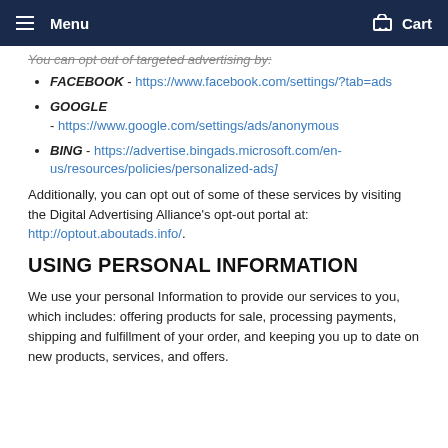Menu  Cart
You can opt out of targeted advertising by:
FACEBOOK - https://www.facebook.com/settings/?tab=ads
GOOGLE - https://www.google.com/settings/ads/anonymous
BING - https://advertise.bingads.microsoft.com/en-us/resources/policies/personalized-ads]
Additionally, you can opt out of some of these services by visiting the Digital Advertising Alliance's opt-out portal at: http://optout.aboutads.info/.
USING PERSONAL INFORMATION
We use your personal Information to provide our services to you, which includes: offering products for sale, processing payments, shipping and fulfillment of your order, and keeping you up to date on new products, services, and offers.